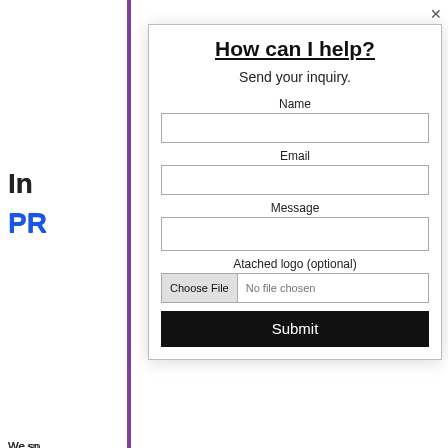How can I help?
Send your inquiry.
Name
Email
Message
Atached logo (optional)
Choose File  No file chosen
Submit